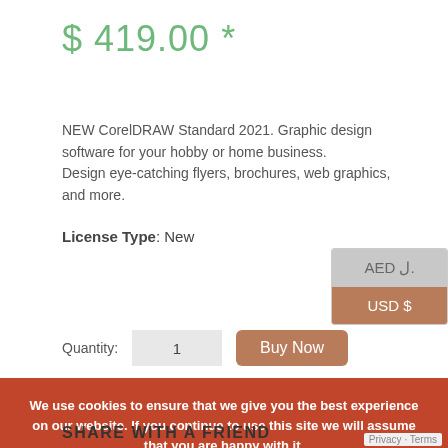$ 419.00 *
NEW CorelDRAW Standard 2021. Graphic design software for your hobby or home business.
Design eye-catching flyers, brochures, web graphics, and more.
License Type: New
AED ل.‎
USD $
Quantity: 1
Buy Now
We use cookies to ensure that we give you the best experience on our website. If you continue to use this site we will assume that you are happy with it.
Cookies Policy
Ok
Privacy · Terms
SHARE WITH A FRIEND